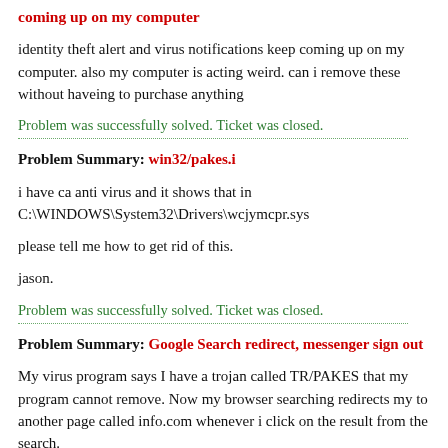coming up on my computer
identity theft alert and virus notifications keep coming up on my computer. also my computer is acting weird. can i remove these without haveing to purchase anything
Problem was successfully solved. Ticket was closed.
Problem Summary: win32/pakes.i
i have ca anti virus and it shows that in C:\WINDOWS\System32\Drivers\wcjymcpr.sys
please tell me how to get rid of this.
jason.
Problem was successfully solved. Ticket was closed.
Problem Summary: Google Search redirect, messenger sign out
My virus program says I have a trojan called TR/PAKES that my program cannot remove. Now my browser searching redirects my to another page called info.com whenever i click on the result from the search.